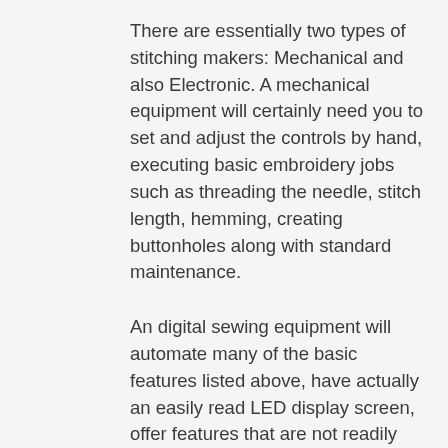There are essentially two types of stitching makers: Mechanical and also Electronic. A mechanical equipment will certainly need you to set and adjust the controls by hand, executing basic embroidery jobs such as threading the needle, stitch length, hemming, creating buttonholes along with standard maintenance.
An digital sewing equipment will automate many of the basic features listed above, have actually an easily read LED display screen, offer features that are not readily available on a mechanical equipment and relieve the concern of tedious sewing job.
A couple of functions that are perfect are